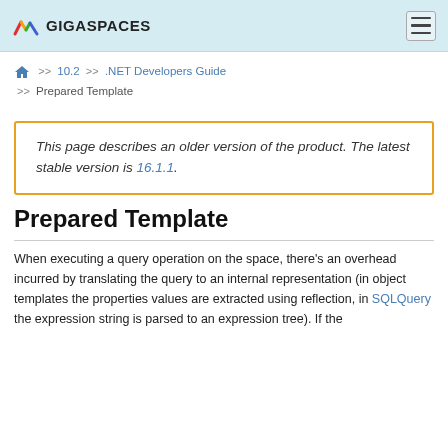GIGASPACES
>> 10.2 >> .NET Developers Guide >> Prepared Template
This page describes an older version of the product. The latest stable version is 16.1.1.
Prepared Template
When executing a query operation on the space, there's an overhead incurred by translating the query to an internal representation (in object templates the properties values are extracted using reflection, in SQLQuery the expression string is parsed to an expression tree). If the